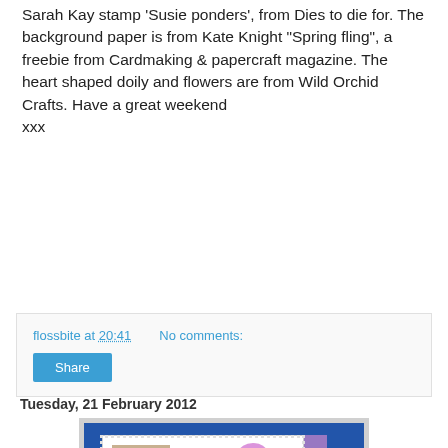Sarah Kay stamp 'Susie ponders', from Dies to die for. The background paper is from Kate Knight "Spring fling", a freebie from Cardmaking & papercraft magazine. The heart shaped doily and flowers are from Wild Orchid Crafts. Have a great weekend
xxx
flossbite at 20:41   No comments:
Tuesday, 21 February 2012
[Figure (photo): A handmade greeting card with a girl figure, pink and purple colours, butterfly decorations, lace doily border, and a 'For a wonderful Friend' tag, displayed against a blue background.]